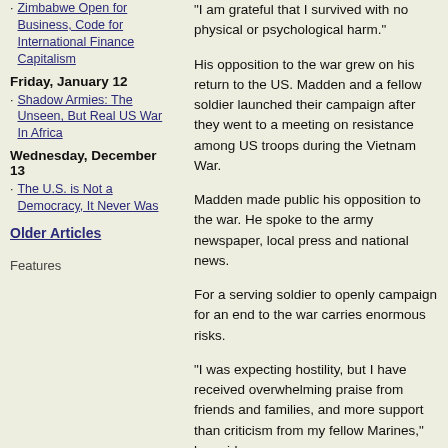Zimbabwe Open for Business, Code for International Finance Capitalism
Friday, January 12
Shadow Armies: The Unseen, But Real US War In Africa
Wednesday, December 13
The U.S. is Not a Democracy, It Never Was
Older Articles
Features
"I am grateful that I survived with no physical or psychological harm."
His opposition to the war grew on his return to the US. Madden and a fellow soldier launched their campaign after they went to a meeting on resistance among US troops during the Vietnam War.
Madden made public his opposition to the war. He spoke to the army newspaper, local press and national news.
For a serving soldier to openly campaign for an end to the war carries enormous risks.
"I was expecting hostility, but I have received overwhelming praise from friends and families, and more support than criticism from my fellow Marines," he said.
"Some things are worth fighting for, I just don't feel Iraq is one of them.
"The more people who die there, and the longer we stayed there, the more I opposed the war. The more I know, the easier it is to support withdrawal."
Madden took his campaign, Appeal for Redress, to the anti-war